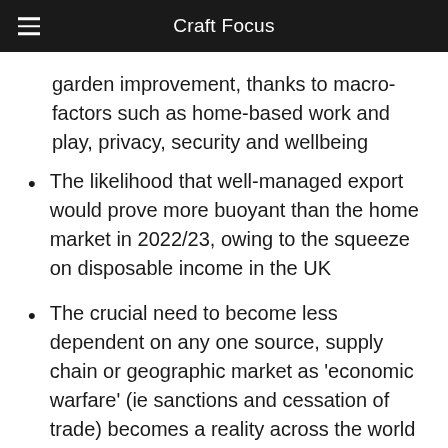Craft Focus
garden improvement, thanks to macro-factors such as home-based work and play, privacy, security and wellbeing
The likelihood that well-managed export would prove more buoyant than the home market in 2022/23, owing to the squeeze on disposable income in the UK
The crucial need to become less dependent on any one source, supply chain or geographic market as 'economic warfare' (ie sanctions and cessation of trade) becomes a reality across the world and not just in relation to the current Ukraine-crisis.